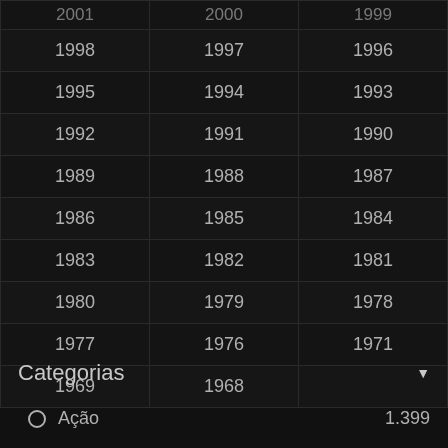| 2001 | 2000 | 1999 |
| 1998 | 1997 | 1996 |
| 1995 | 1994 | 1993 |
| 1992 | 1991 | 1990 |
| 1989 | 1988 | 1987 |
| 1986 | 1985 | 1984 |
| 1983 | 1982 | 1981 |
| 1980 | 1979 | 1978 |
| 1977 | 1976 | 1971 |
| 1969 | 1968 |  |
Categorias
Ação  1.399